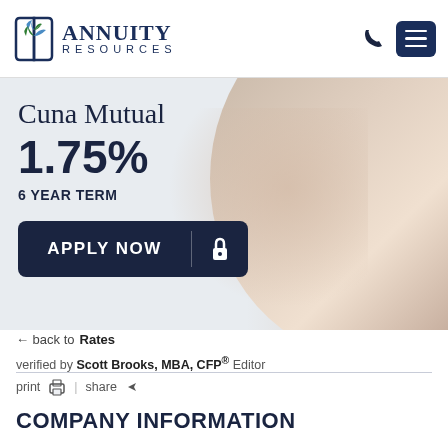[Figure (logo): Annuity Resources logo with open book and leaf icon, company name in navy serif text]
[Figure (photo): Hero banner showing Cuna Mutual 1.75% 6 Year Term with Apply Now button, background shows a hand holding a pen]
← back to Rates
verified by Scott Brooks, MBA, CFP® Editor
print  |  share
COMPANY INFORMATION